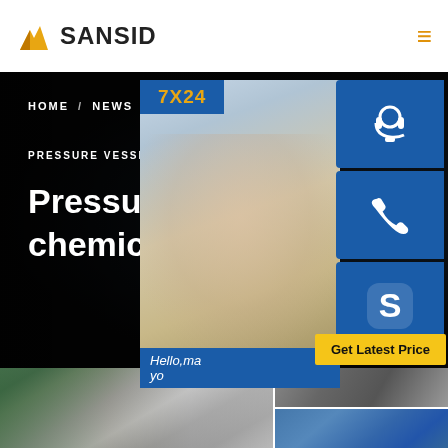SANSID
HOME / NEWS / PRESSURE VESSEL HEADS FOR CHEMICAL
Pressure Vessel Head chemical industry
[Figure (screenshot): Customer service panel with 7X24 badge, headset photo, phone icon, Skype icon, and Get Latest Price button]
[Figure (photo): Industrial manufacturing facility showing pressure vessel heads and manufacturing equipment]